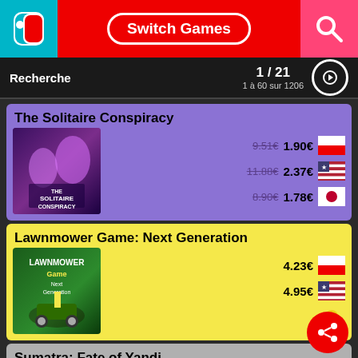Switch Games
Recherche  1 / 21  1 à 60 sur 1206
The Solitaire Conspiracy
9.51€ 1.90€ (Poland) | 11.88€ 2.37€ (USA) | 8.90€ 1.78€ (Japan)
Lawnmower Game: Next Generation
4.23€ (Poland) | 4.95€ (USA)
Sumatra: Fate of Yandi
5.07€ (Poland) | 6.89€ (Canada)